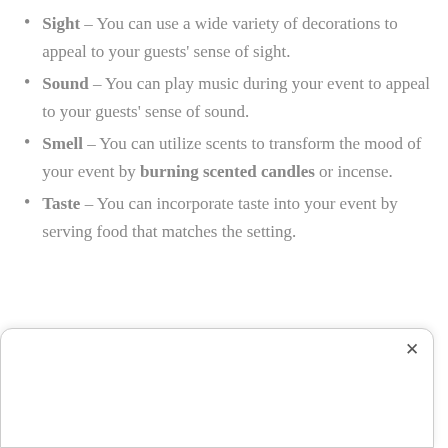Sight – You can use a wide variety of decorations to appeal to your guests' sense of sight.
Sound – You can play music during your event to appeal to your guests' sense of sound.
Smell – You can utilize scents to transform the mood of your event by burning scented candles or incense.
Taste – You can incorporate taste into your event by serving food that matches the setting.